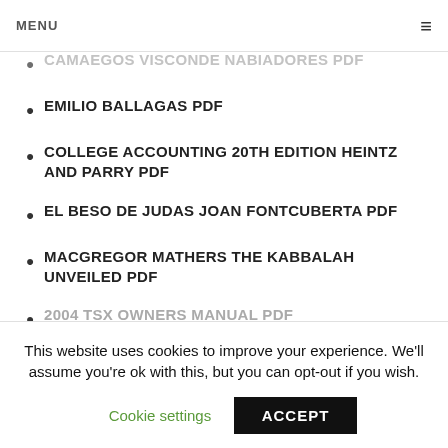MENU ≡
CAMAEGOS VISCONDE NABIADORES PDF
EMILIO BALLAGAS PDF
COLLEGE ACCOUNTING 20TH EDITION HEINTZ AND PARRY PDF
EL BESO DE JUDAS JOAN FONTCUBERTA PDF
MACGREGOR MATHERS THE KABBALAH UNVEILED PDF
2004 TSX OWNERS MANUAL PDF
This website uses cookies to improve your experience. We'll assume you're ok with this, but you can opt-out if you wish.
Cookie settings  ACCEPT